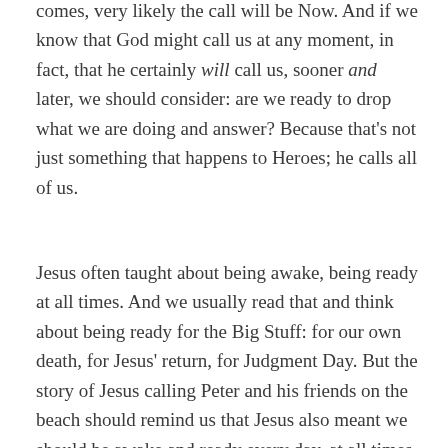comes, very likely the call will be Now. And if we know that God might call us at any moment, in fact, that he certainly will call us, sooner and later, we should consider: are we ready to drop what we are doing and answer? Because that's not just something that happens to Heroes; he calls all of us.
Jesus often taught about being awake, being ready at all times. And we usually read that and think about being ready for the Big Stuff: for our own death, for Jesus' return, for Judgment Day. But the story of Jesus calling Peter and his friends on the beach should remind us that Jesus also meant we should be awake and ready every day, at all times,